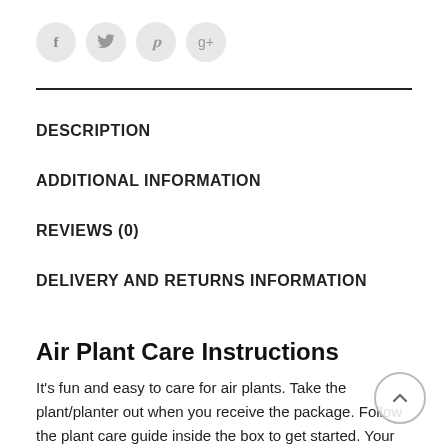[Figure (other): Social media share icons: Facebook (f), Twitter (bird), Pinterest (p), Google+ (g+) — circular light gray buttons]
DESCRIPTION
ADDITIONAL INFORMATION
REVIEWS (0)
DELIVERY AND RETURNS INFORMATION
Air Plant Care Instructions
It's fun and easy to care for air plants. Take the plant/planter out when you receive the package. Follow the plant care guide inside the box to get started. Your plant will thrive with some indirect light (natural sunlight or